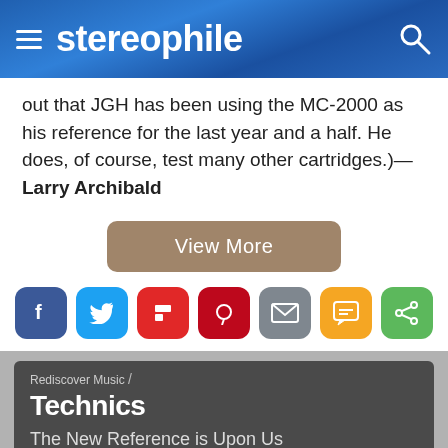stereophile
out that JGH has been using the MC-2000 as his reference for the last year and a half. He does, of course, test many other cartridges.)—Larry Archibald
[Figure (other): View More button (tan/brown rounded rectangle)]
[Figure (other): Social share buttons row: Facebook (blue), Twitter (light blue), Flipboard (red), Pinterest (dark red), Email (gray), SMS (yellow/orange), Share (green)]
[Figure (other): Technics advertisement card: 'Rediscover Music / Technics — The New Reference is Upon Us' on dark gray background]